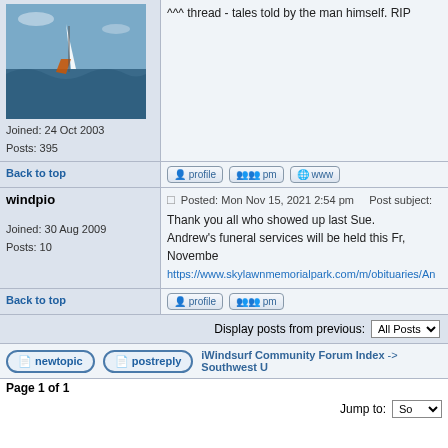[Figure (photo): Windsurfer on water, profile photo of forum user]
Joined: 24 Oct 2003
Posts: 395
^^^ thread - tales told by the man himself. RIP
Back to top
windpio
Posted: Mon Nov 15, 2021 2:54 pm    Post subject:
Thank you all who showed up last Sue.
Andrew's funeral services will be held this Fr, Novembe
https://www.skylawnmemorialpark.com/m/obituaries/An
Joined: 30 Aug 2009
Posts: 10
Back to top
Display posts from previous: All Posts
iWindsurf Community Forum Index -> Southwest U
Page 1 of 1
Jump to: